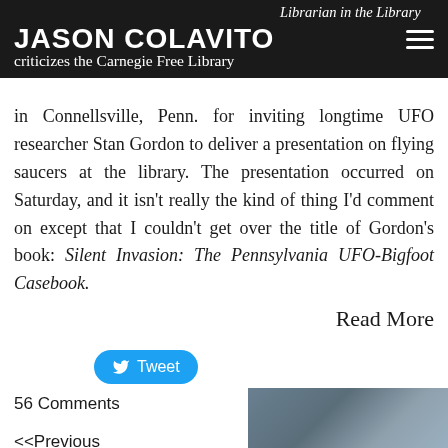JASON COLAVITO
Librarian in the Library criticizes the Carnegie Free Library in Connellsville, Penn. for inviting longtime UFO researcher Stan Gordon to deliver a presentation on flying saucers at the library. The presentation occurred on Saturday, and it isn't really the kind of thing I'd comment on except that I couldn't get over the title of Gordon's book: Silent Invasion: The Pennsylvania UFO-Bigfoot Casebook.
Read More
Tweet
56 Comments
<<Previous